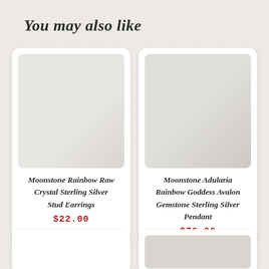You may also like
[Figure (photo): Product card for Moonstone Rainbow Raw Crystal Sterling Silver Stud Earrings — white/light grey product image placeholder]
Moonstone Rainbow Raw Crystal Sterling Silver Stud Earrings
$22.00
[Figure (photo): Product card for Moonstone Adularia Rainbow Goddess Avalon Gemstone Sterling Silver Pendant — white/light grey product image placeholder]
Moonstone Adularia Rainbow Goddess Avalon Gemstone Sterling Silver Pendant
$76.00
[Figure (photo): Partially visible product card at bottom left]
[Figure (photo): Partially visible product card at bottom right with grey image placeholder]